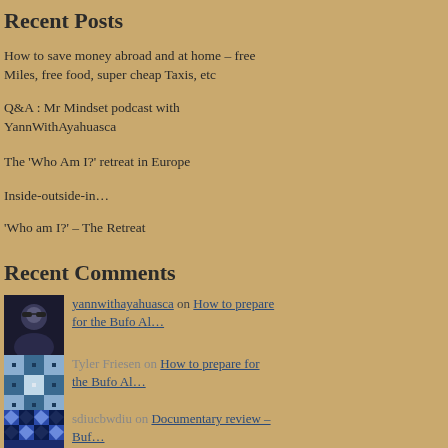Recent Posts
How to save money abroad and at home – free Miles, free food, super cheap Taxis, etc
Q&A : Mr Mindset podcast with YannWithAyahuasca
The 'Who Am I?' retreat in Europe
Inside-outside-in…
'Who am I?' – The Retreat
Recent Comments
yannwithayahuasca on How to prepare for the Bufo Al…
Tyler Friesen on How to prepare for the Bufo Al…
sdiucbwdiu on Documentary review – Buf…
Puno on An Open letter to Octavio